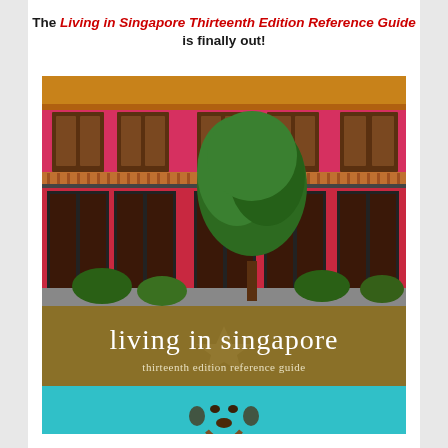The Living in Singapore Thirteenth Edition Reference Guide is finally out!
[Figure (photo): Book cover of 'Living in Singapore Thirteenth Edition Reference Guide'. Top portion shows a vibrant pink/red colonial shophouse building with green trees. Middle section has a golden/olive banner with white text reading 'living in singapore' and 'thirteenth edition reference guide'. Bottom portion shows a close-up of an ornate bronze door knocker against a turquoise background.]